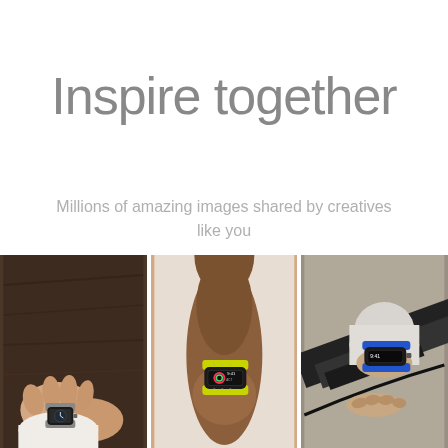Inspire together
Millions of amazing images shared by creatives like you
[Figure (photo): Three photos showing smartwatches on wrists: left photo shows two hands together with an Apple Watch on a dark wood background; center photo shows a runner's arm with a yellow-band Apple Watch; right photo shows a cyclist's wrist with a blue-band Apple Watch near bike handlebars.]